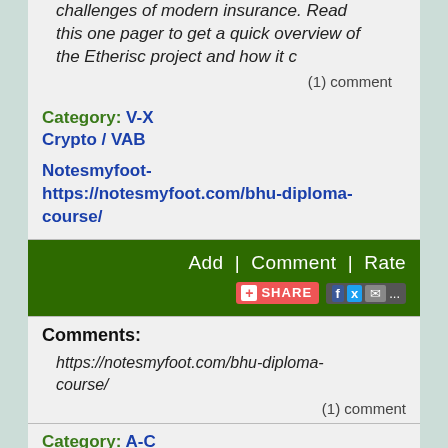challenges of modern insurance. Read this one pager to get a quick overview of the Etherisc project and how it c
(1) comment
Category: V-X
Crypto / VAB
Notesmyfoot-
https://notesmyfoot.com/bhu-diploma-course/
[Figure (other): Green action bar with Add | Comment | Rate links and a share button with social icons (Facebook, Twitter, email)]
Comments:
https://notesmyfoot.com/bhu-diploma-course/
(1) comment
Category: A-C
Crypto / BPR